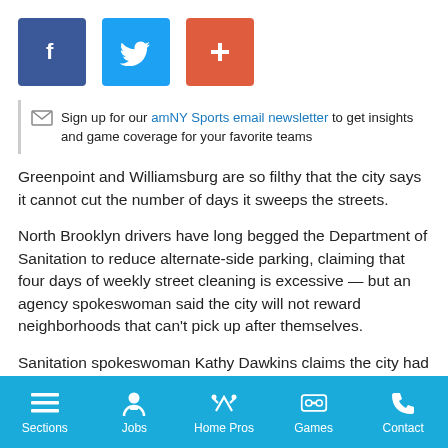[Figure (other): Social media share buttons: Facebook (blue), Twitter (light blue), Add/Plus (orange-red)]
Sign up for our amNY Sports email newsletter to get insights and game coverage for your favorite teams
Greenpoint and Williamsburg are so filthy that the city says it cannot cut the number of days it sweeps the streets.
North Brooklyn drivers have long begged the Department of Sanitation to reduce alternate-side parking, claiming that four days of weekly street cleaning is excessive — but an agency spokeswoman said the city will not reward neighborhoods that can't pick up after themselves.
Sanitation spokeswoman Kathy Dawkins claims the city had no choice but to reject a Community Board 1 application for less
Sections | Jobs | Home Pros | Games | Contact